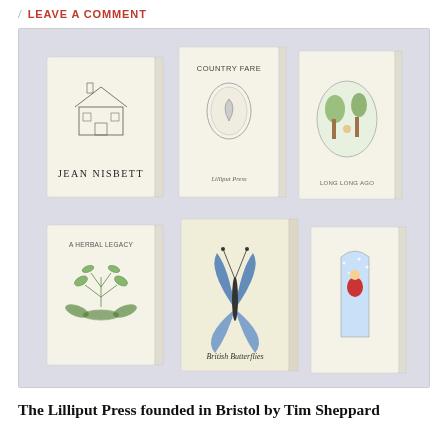/ LEAVE A COMMENT
[Figure (photo): Six miniature books from the Lilliput Press arranged in two rows of three on a light grey/lavender background. Top row: a book with a house illustration and 'JEAN NISBETT' on the cover, a book titled 'COUNTRY FARE' with a small oval illustration and 'Lilliput Press' at the bottom, and a book with a circular oval illustration and 'LONG LONG AGO' on the cover. Bottom row: a book titled 'A HERBAL LEGACY' with a plant/herb illustration, a book with a butterfly/insect illustration and 'British Butterflies' at the bottom, and a partially visible book with a figure in a snowy scene.]
The Lilliput Press founded in Bristol by Tim Sheppard